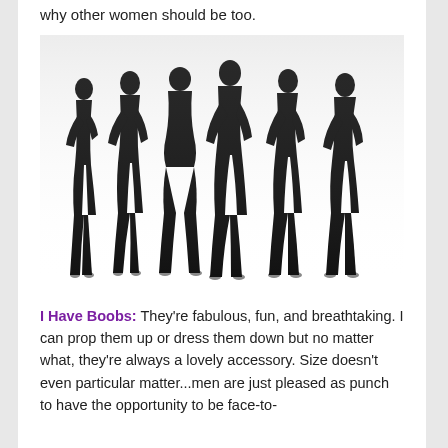why other women should be too.
[Figure (illustration): Six female silhouettes standing in a row with reflections below, against a white background.]
I Have Boobs: They're fabulous, fun, and breathtaking. I can prop them up or dress them down but no matter what, they're always a lovely accessory. Size doesn't even particular matter...men are just pleased as punch to have the opportunity to be face-to-